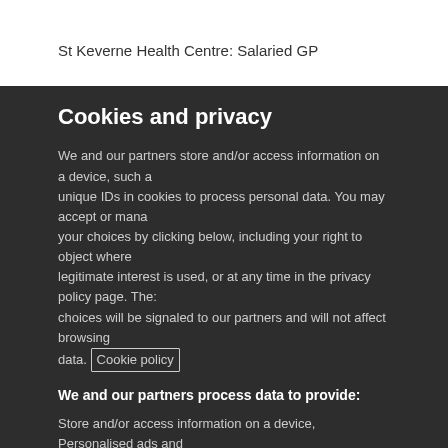St Keverne Health Centre: Salaried GP
Cookies and privacy
We and our partners store and/or access information on a device, such as unique IDs in cookies to process personal data. You may accept or manage your choices by clicking below, including your right to object where legitimate interest is used, or at any time in the privacy policy page. These choices will be signaled to our partners and will not affect browsing data. Cookie policy
We and our partners process data to provide:
Store and/or access information on a device, Personalised ads and content, ad and content measurement, audience insights and product development, Use precise geolocation data, Actively scan device characteristics for identification
List of Partners (vendors)
I Accept